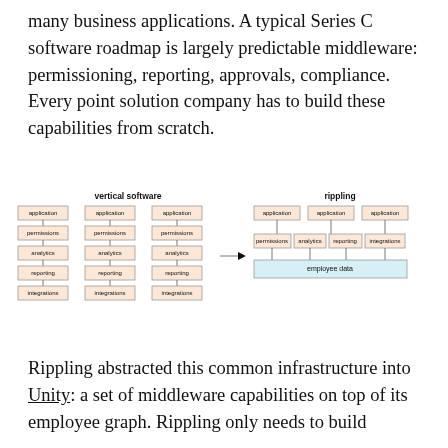many business applications. A typical Series C software roadmap is largely predictable middleware: permissioning, reporting, approvals, compliance. Every point solution company has to build these capabilities from scratch.
[Figure (flowchart): Diagram comparing vertical software (three stacks each with application, permissions, analytics, reporting, integrations boxes) vs rippling (three application boxes sharing common permissions, analytics, reporting, integrations layer above a single employee data layer), connected by an arrow.]
Rippling abstracted this common infrastructure into Unity: a set of middleware capabilities on top of its employee graph. Rippling only needs to build middleware once, and every application benefits.